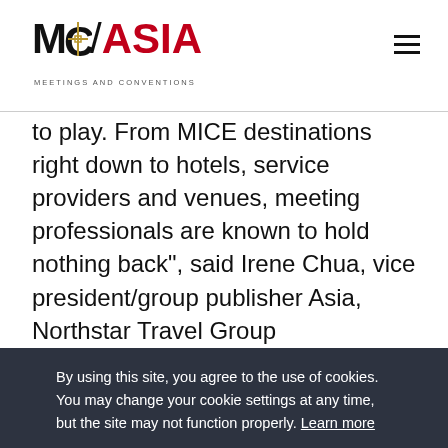MC/ASIA MEETINGS AND CONVENTIONS
to play. From MICE destinations right down to hotels, service providers and venues, meeting professionals are known to hold nothing back", said Irene Chua, vice president/group publisher Asia, Northstar Travel Group
By using this site, you agree to the use of cookies. You may change your cookie settings at any time, but the site may not function properly. Learn more
OK
push the boundaries of innovation as well as service